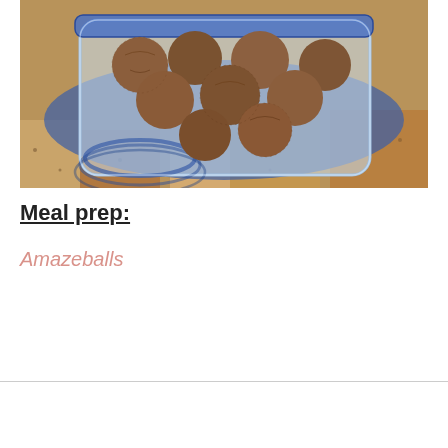[Figure (photo): Photo of energy balls (amazeballs) in a clear plastic food storage container with a blue lid, placed on a granite countertop.]
Meal prep:
Amazeballs